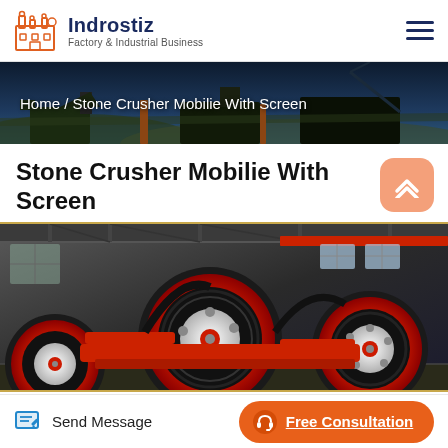Indrostiz — Factory & Industrial Business
[Figure (photo): Dark panoramic banner showing a stone crusher / quarry industrial site with machinery and equipment in an outdoor setting]
Home  / Stone Crusher Mobilie With Screen
Stone Crusher Mobilie With Screen
[Figure (photo): Close-up photo inside an industrial factory showing large red and black flywheel/pulley components of a stone crusher machine, with factory ceiling trusses and windows visible in the background]
Send Message
Free Consultation